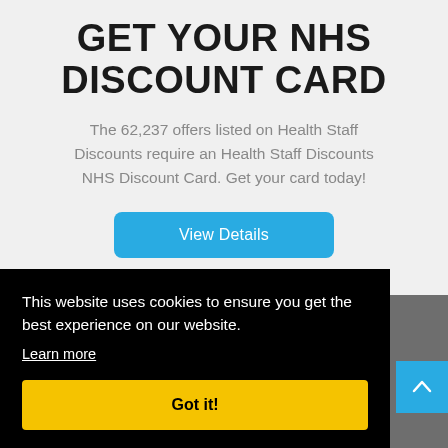GET YOUR NHS DISCOUNT CARD
The 62,237 offers listed on Health Staff Discounts require an Health Staff Discounts NHS Discount Card. Get your card today!
View Details
This website uses cookies to ensure you get the best experience on our website.
Learn more
Got it!
Recent Offers